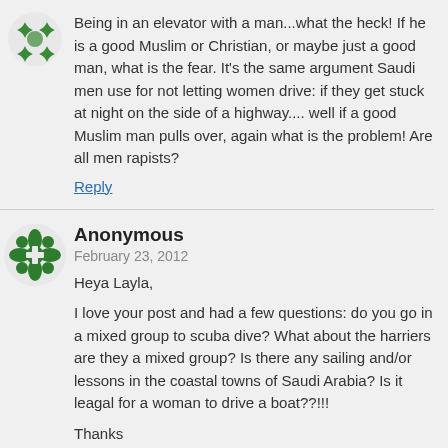Being in an elevator with a man...what the heck! If he is a good Muslim or Christian, or maybe just a good man, what is the fear. It's the same argument Saudi men use for not letting women drive: if they get stuck at night on the side of a highway.... well if a good Muslim man pulls over, again what is the problem! Are all men rapists?
Reply
[Figure (logo): Green decorative avatar icon with cross/snowflake pattern]
Anonymous
February 23, 2012
Heya Layla,

I love your post and had a few questions: do you go in a mixed group to scuba dive? What about the harriers are they a mixed group? Is there any sailing and/or lessons in the coastal towns of Saudi Arabia? Is it leagal for a woman to drive a boat??!!!

Thanks
Reply